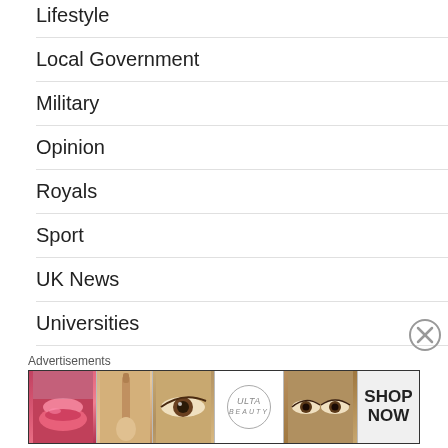Lifestyle
Local Government
Military
Opinion
Royals
Sport
UK News
Universities
World
We use cookies on our website to give you the most relevant experience by remembering your preferences and repeat visits. By clicking "Accept All", you consent to the use of ALL the cookies. However, you may visit "Cookie Settings" to provide a controlled consent.
Advertisements
[Figure (illustration): Ulta Beauty advertisement banner showing makeup imagery: lips with lipstick, makeup brush, eye with makeup, Ulta Beauty logo, eyes with eyeshadow, and SHOP NOW call to action]